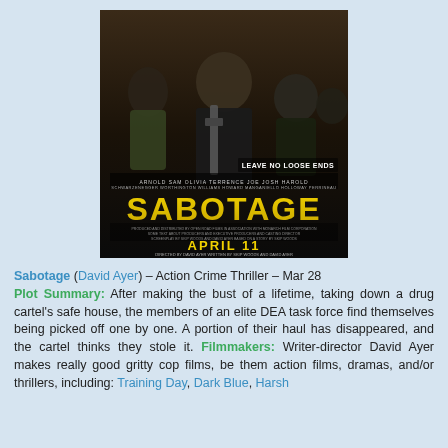[Figure (photo): Movie poster for 'Sabotage' directed by David Ayer. Shows armed tactical team members in dark clothing with guns. Yellow text reads 'SABOTAGE' prominently. Tagline 'LEAVE NO LOOSE ENDS' in white. Release date 'APRIL 11' at bottom. Cast credits listed at top and bottom.]
Sabotage (David Ayer) – Action Crime Thriller – Mar 28 Plot Summary: After making the bust of a lifetime, taking down a drug cartel's safe house, the members of an elite DEA task force find themselves being picked off one by one. A portion of their haul has disappeared, and the cartel thinks they stole it. Filmmakers: Writer-director David Ayer makes really good gritty cop films, be them action films, dramas, and/or thrillers, including: Training Day, Dark Blue, Harsh